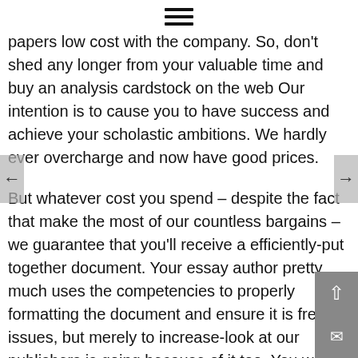≡
papers low cost with the company. So, don't shed any longer from your valuable time and buy an analysis cardstock on the web Our intention is to cause you to have success and achieve your scholastic ambitions. We hardly ever overcharge and now have good prices.
But whatever cost you spend – despite the fact that make the most of our countless bargains – we guarantee that you'll receive a efficiently-put together document. Your essay author pretty much uses the competencies to properly formatting the document and ensure it is free of issues, but merely to increase-look at our publishers is going because of it too. You won't get yourself a bad-good quality newspaper because you're paying out very affordable selling prices. We're here for all of your report-formulating really needs, once you really need us – just check with us to post your report, and loosen up – we'll perform the p So now you may see why we can express that we're one of the best essay authoring program we value our young people and presenting all of them